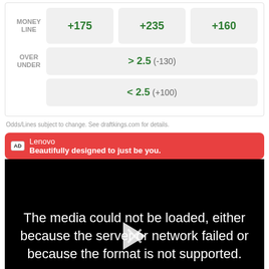| MONEY LINE | +175 | +235 | +160 |
| OVER UNDER | > 2.5 (-130) |  |  |
|  | < 2.5 (+100) |  |  |
Odds/Lines subject to change. See draftkings.com for details.
AD  Lenovo  Beautifully designed to just be you.
[Figure (screenshot): Video player showing error message: The media could not be loaded, either because the server or network failed or because the format is not supported. Controls visible at bottom including play button, volume, and CC.]
[Figure (photo): Bottom portion of Lenovo advertisement showing a person with curly hair and red background.]